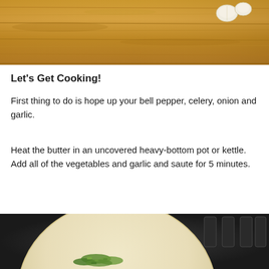[Figure (photo): Overhead view of a wooden cutting board with garlic cloves on it]
Let's Get Cooking!
First thing to do is hope up your bell pepper, celery, onion and garlic.
Heat the butter in an uncovered heavy-bottom pot or kettle. Add all of the vegetables and garlic and saute for 5 minutes.
[Figure (photo): A large cream-colored Dutch oven or heavy pot on a stove with green vegetables inside, viewed from above]